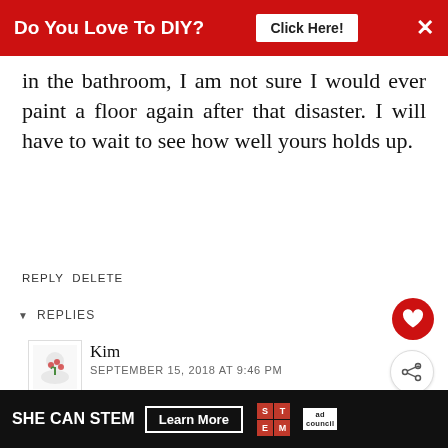[Figure (infographic): Red advertisement banner at top reading 'Do You Love To DIY?' with 'Click Here!' button and X close button]
in the bathroom, I am not sure I would ever paint a floor again after that disaster. I will have to wait to see how well yours holds up.
REPLY DELETE
▼ REPLIES
[Figure (photo): User avatar with floral/tulip logo for commenter Kim]
Kim
SEPTEMBER 15, 2018 AT 9:46 PM
I was concerned ab too, AnnMarie. So good, but it's only been a
[Figure (infographic): What's Next panel showing 'How To Stain A Concrete...' with thumbnail]
[Figure (infographic): Bottom ad banner: SHE CAN STEM with Learn More button, STEM logo, and Ad Council logo]